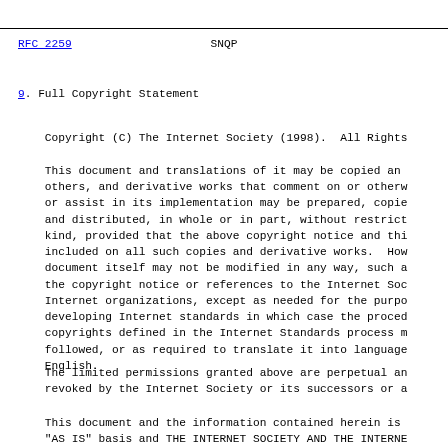RFC 2259   SNQP
9.  Full Copyright Statement
Copyright (C) The Internet Society (1998).  All Rights Reserved.
This document and translations of it may be copied and furnished to others, and derivative works that comment on or otherwise explain it or assist in its implementation may be prepared, copied, published and distributed, in whole or in part, without restriction of any kind, provided that the above copyright notice and this paragraph are included on all such copies and derivative works.  However, this document itself may not be modified in any way, such as by removing the copyright notice or references to the Internet Society or other Internet organizations, except as needed for the purpose of developing Internet standards in which case the procedures for copyrights defined in the Internet Standards process must be followed, or as required to translate it into languages other than English.
The limited permissions granted above are perpetual and will not be revoked by the Internet Society or its successors or assigns.
This document and the information contained herein is provided on an "AS IS" basis and THE INTERNET SOCIETY AND THE INTERNET ENGINEERING TASK FORCE DISCLAIMS ALL WARRANTIES, EXPRESS OR IMPLIED,